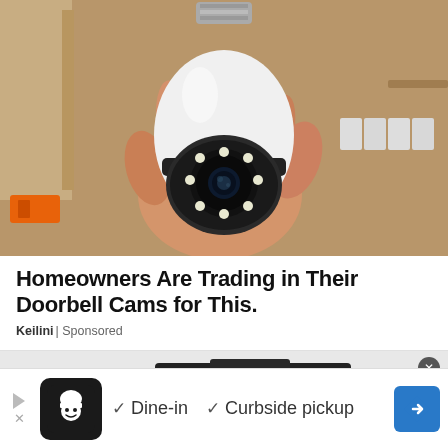[Figure (photo): A hand holding a white light bulb security camera with a circular lens and LED ring, shown against a wooden shelf background with white items visible. The camera has a black rotating head with a camera lens in the center.]
Homeowners Are Trading in Their Doorbell Cams for This.
Keilini | Sponsored
[Figure (photo): Bottom portion of a second advertisement showing a black car backup camera device on a light background.]
[Figure (screenshot): Advertisement bar at the bottom: Play button triangle and X on left, black logo box with chef/cook icon, checkmarks next to 'Dine-in' and 'Curbside pickup', blue diamond arrow button on right.]